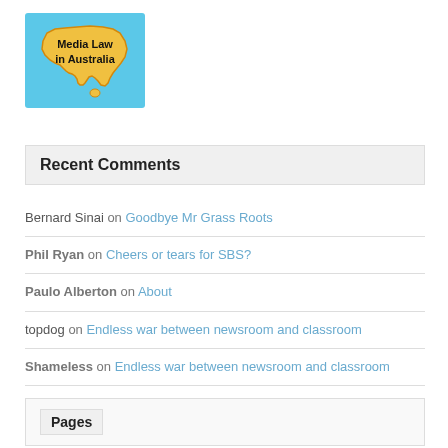[Figure (logo): Media Law in Australia logo: map of Australia in orange/yellow on light blue background with bold black text 'Media Law in Australia']
Recent Comments
Bernard Sinai on Goodbye Mr Grass Roots
Phil Ryan on Cheers or tears for SBS?
Paulo Alberton on About
topdog on Endless war between newsroom and classroom
Shameless on Endless war between newsroom and classroom
Pages